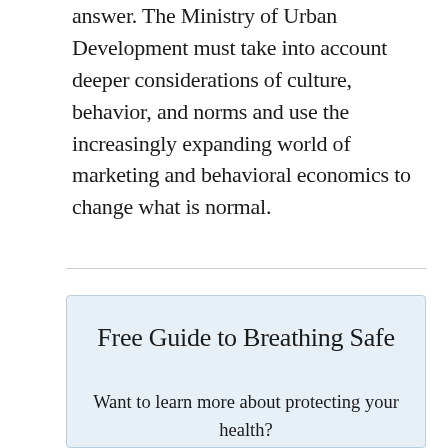answer. The Ministry of Urban Development must take into account deeper considerations of culture, behavior, and norms and use the increasingly expanding world of marketing and behavioral economics to change what is normal.
Free Guide to Breathing Safe
Want to learn more about protecting your health? Join thousands more and stay up to date on protecting your health.